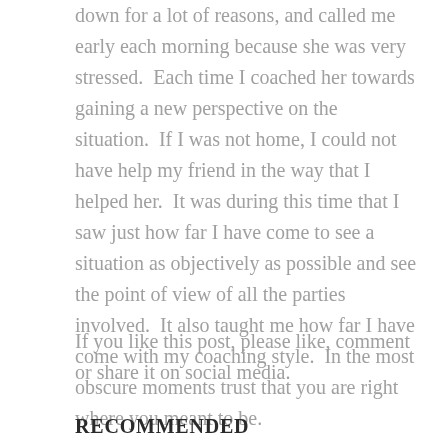down for a lot of reasons, and called me early each morning because she was very stressed.  Each time I coached her towards gaining a new perspective on the situation.  If I was not home, I could not have help my friend in the way that I helped her.  It was during this time that I saw just how far I have come to see a situation as objectively as possible and see the point of view of all the parties involved.  It also taught me how far I have come with my coaching style.  In the most obscure moments trust that you are right where you meant to be.
If you like this post, please like, comment or share it on social media.
RECOMMENDED